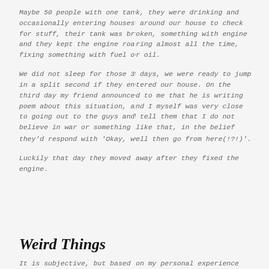Maybe 50 people with one tank, they were drinking and occasionally entering houses around our house to check for stuff, their tank was broken, something with engine and they kept the engine roaring almost all the time, fixing something with fuel or oil.
We did not sleep for those 3 days, we were ready to jump in a split second if they entered our house. On the third day my friend announced to me that he is writing poem about this situation, and I myself was very close to going out to the guys and tell them that I do not believe in war or something like that, in the belief they'd respond with 'Okay, well then go from here(!?!)'.
Luckily that day they moved away after they fixed the engine.
Weird Things
It is subjective, but based on my personal experience